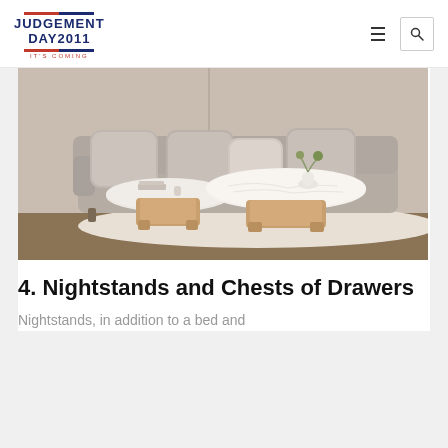JUDGEMENT DAY2011 — IT'S COMING
[Figure (photo): Interior photo of a light grey sofa with cushions behind two round white-top coffee tables with wooden bases, set on a cream rug against a beige wall]
4. Nightstands and Chests of Drawers
Nightstands, in addition to a bed and